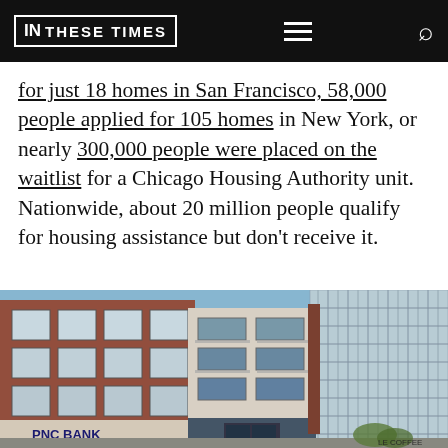IN THESE TIMES
for just 18 homes in San Francisco, 58,000 people applied for 105 homes in New York, or nearly 300,000 people were placed on the waitlist for a Chicago Housing Authority unit. Nationwide, about 20 million people qualify for housing assistance but don't receive it.
[Figure (photo): Street-level photo of urban residential apartment buildings including brick multi-story buildings and a modern glass high-rise, with a PNC Bank storefront visible at street level and a coffee shop sign in the lower right.]